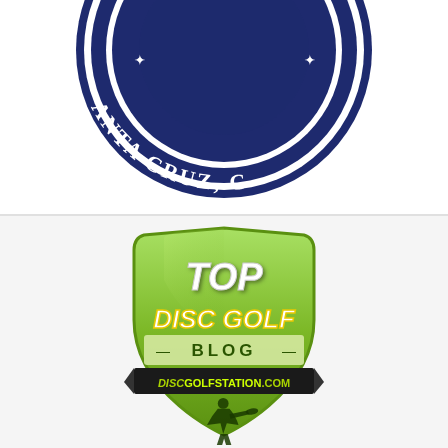[Figure (logo): Partial circular seal/badge logo with dark navy blue color, showing text 'ANTA CRUZ, C' along the bottom arc and 'RE LUDERE M' along the top arc, badge/seal style emblem, partially cropped at top edge]
[Figure (logo): Shield-shaped badge logo for 'Top Disc Golf Blog' by discgolfstation.com. Green gradient shield shape with white bold italic text 'TOP' at top, 'DISC GOLF' in yellow-outlined white italic text, '- BLOG -' in dark text on lighter green band, black banner with 'DISCGOLFSTATION.COM' text, and silhouette of disc golf player at bottom]